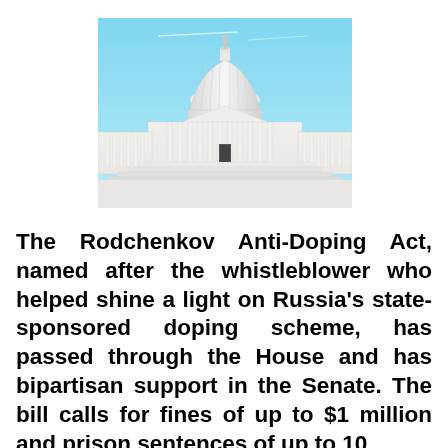[Figure (photo): Photograph of the United States Capitol building with its iconic white dome against a blue sky]
The Rodchenkov Anti-Doping Act, named after the whistleblower who helped shine a light on Russia's state-sponsored doping scheme, has passed through the House and has bipartisan support in the Senate. The bill calls for fines of up to $1 million and prison sentences of up to 10